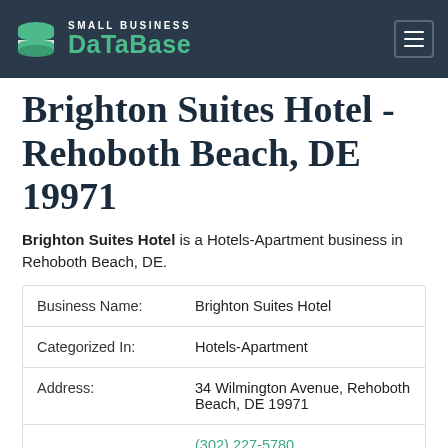SMALL BUSINESS DATABASE
Brighton Suites Hotel - Rehoboth Beach, DE 19971
Brighton Suites Hotel is a Hotels-Apartment business in Rehoboth Beach, DE.
| Field | Value |
| --- | --- |
| Business Name: | Brighton Suites Hotel |
| Categorized In: | Hotels-Apartment |
| Address: | 34 Wilmington Avenue, Rehoboth Beach, DE 19971 |
| Phone Number: | (302) 227-5780  Full Phone Report |